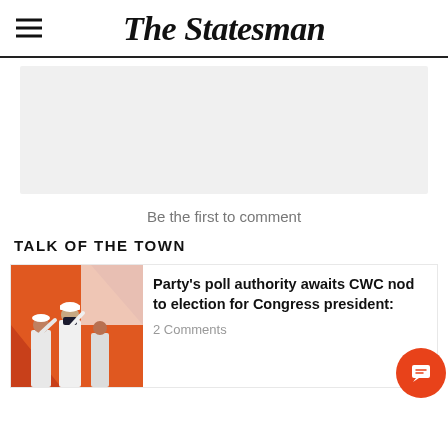The Statesman
[Figure (other): Gray advertisement placeholder rectangle]
Be the first to comment
TALK OF THE TOWN
[Figure (photo): Photo of people in white kurtas saluting, with an orange and white flag in the background, wearing masks]
Party's poll authority awaits CWC nod to election for Congress president:
2 Comments